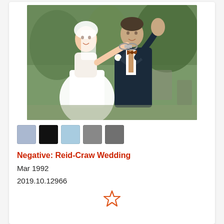[Figure (photo): Wedding photo of a bride in a white dress and groom in a dark suit with a white boutonniere, both smiling, groom waving with handcuffs visible on wrists, outdoors with greenery in background.]
[Figure (infographic): Five color swatches: light blue/lavender, black, light blue, medium grey, darker grey.]
Negative: Reid-Craw Wedding
Mar 1992
2019.10.12966
[Figure (illustration): Star/favorite icon outline in red/orange at bottom center.]